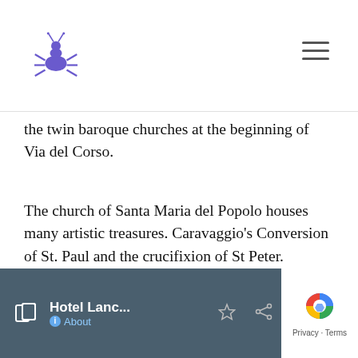Hotel Lanc... [logo and navigation]
the twin baroque churches at the beginning of Via del Corso.
The church of Santa Maria del Popolo houses many artistic treasures. Caravaggio’s Conversion of St. Paul and the crucifixion of St Peter. Legend has it that Nero was buried on this spot and that he continued to haunt the area until the church was built. It is known as the church of the artists and is still used for funeral services of famous actors and artists.
Hotel Lanc... About